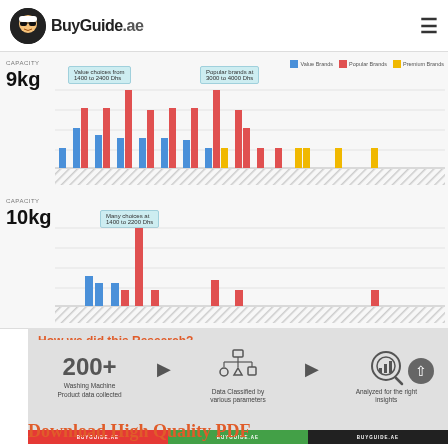BuyGuide.ae
[Figure (grouped-bar-chart): Bar chart showing value brands (blue), popular brands (red), and premium brands (yellow) washing machines at 9kg capacity. Callouts: Value choices from 1400 to 2400 Dhs; Popular brands at 3000 to 4000 Dhs.]
[Figure (grouped-bar-chart): Bar chart showing value brands (blue) and popular brands (red) at 10kg capacity. Callout: Many choices at 1400 to 2200 Dhs.]
How we did this Research?
200+ Washing Machine Product data collected
Data Classified by various parameters
Analyzed for the right insights
Download High Quality PDF